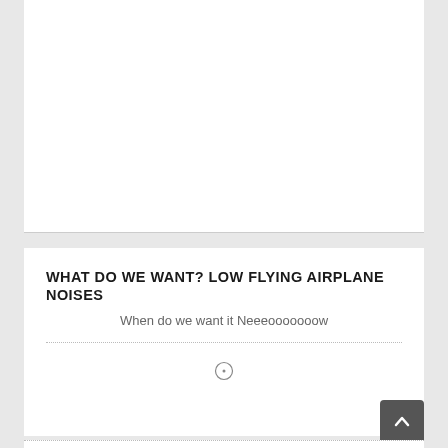[Figure (other): White card/image area at the top of the page, blank white rectangle]
WHAT DO WE WANT? LOW FLYING AIRPLANE NOISES
When do we want it Neeeooooooow
[Figure (other): Clock icon (circular with dot in center), grey outlined circle]
Aufbau principle :